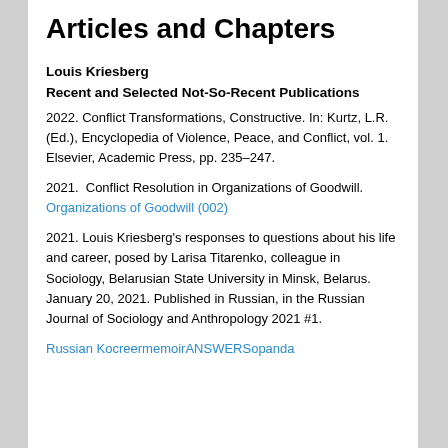Articles and Chapters
Louis Kriesberg
Recent and Selected Not-So-Recent Publications
2022. Conflict Transformations, Constructive. In: Kurtz, L.R. (Ed.), Encyclopedia of Violence, Peace, and Conflict, vol. 1. Elsevier, Academic Press, pp. 235–247.
2021.  Conflict Resolution in Organizations of Goodwill. Organizations of Goodwill (002)
2021. Louis Kriesberg's responses to questions about his life and career, posed by Larisa Titarenko, colleague in Sociology, Belarusian State University in Minsk, Belarus. January 20, 2021. Published in Russian, in the Russian Journal of Sociology and Anthropology 2021 #1.
Russian KocreermemoirANSWERSopanda